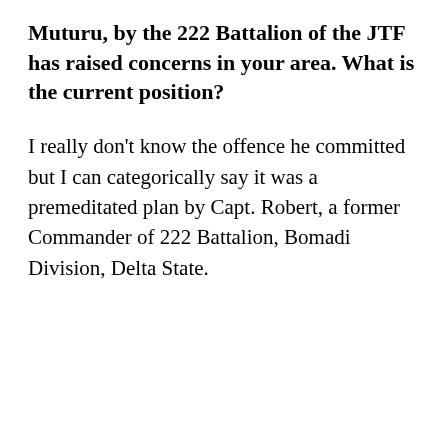Muturu, by the 222 Battalion of the JTF has raised concerns in your area. What is the current position?
I really don't know the offence he committed but I can categorically say it was a premeditated plan by Capt. Robert, a former Commander of 222 Battalion, Bomadi Division, Delta State.